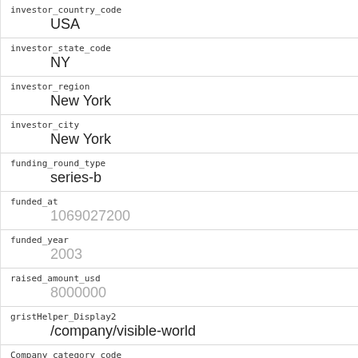| Field | Value |
| --- | --- |
| investor_country_code | USA |
| investor_state_code | NY |
| investor_region | New York |
| investor_city | New York |
| funding_round_type | series-b |
| funded_at | 1069027200 |
| funded_year | 2003 |
| raised_amount_usd | 8000000 |
| gristHelper_Display2 | /company/visible-world |
| Company_category_code | advertising |